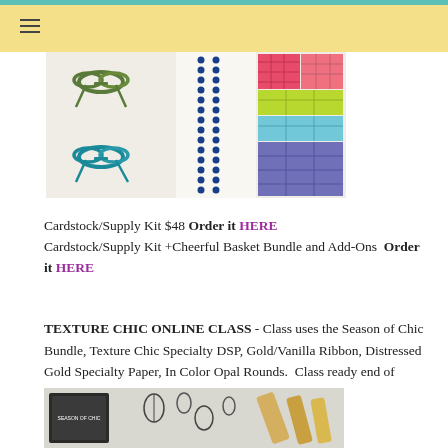≡
[Figure (photo): Product photo showing green ribbon bow, teal ribbon bow, rows of blue rhinestone pearls, and colorful patterned cardstock sheets in pink, coral, lime green, teal, light blue, and purple plaid patterns.]
Cardstock/Supply Kit $48 Order it HERE
Cardstock/Supply Kit +Cheerful Basket Bundle and Add-Ons  Order it HERE
TEXTURE CHIC ONLINE CLASS - Class uses the Season of Chic Bundle, Texture Chic Specialty DSP, Gold/Vanilla Ribbon, Distressed Gold Specialty Paper, In Color Opal Rounds.  Class ready end of August.
[Figure (photo): Photo of Season of Chic stamp set and bundle products including stamps and tools.]